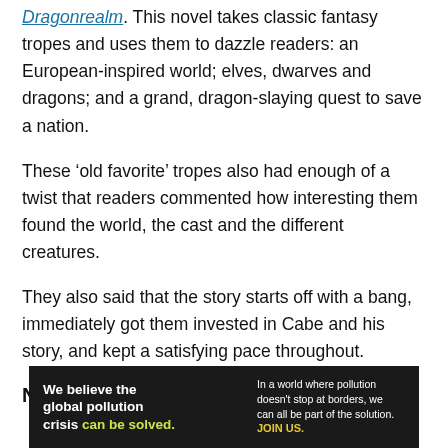Dragonrealm. This novel takes classic fantasy tropes and uses them to dazzle readers: an European-inspired world; elves, dwarves and dragons; and a grand, dragon-slaying quest to save a nation.
These ‘old favorite’ tropes also had enough of a twist that readers commented how interesting them found the world, the cast and the different creatures.
They also said that the story starts off with a bang, immediately got them invested in Cabe and his story, and kept a satisfying pace throughout.
Negative Comments
[Figure (infographic): Advertisement banner for Pure Earth: 'We believe the global pollution crisis can be solved.' with tagline about global pollution and JOIN US call to action, Pure Earth logo with diamond/arrow icon.]